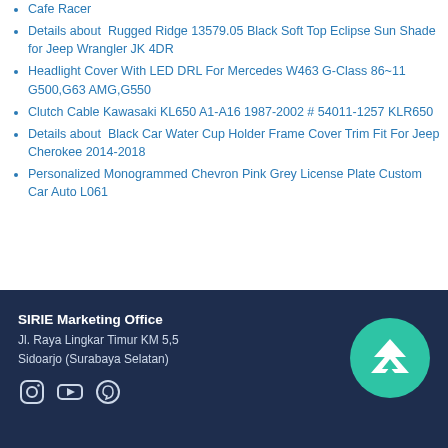Cafe Racer
Details about  Rugged Ridge 13579.05 Black Soft Top Eclipse Sun Shade for Jeep Wrangler JK 4DR
Headlight Cover With LED DRL For Mercedes W463 G-Class 86~11 G500,G63 AMG,G550
Clutch Cable Kawasaki KL650 A1-A16 1987-2002 # 54011-1257 KLR650
Details about  Black Car Water Cup Holder Frame Cover Trim Fit For Jeep Cherokee 2014-2018
Personalized Monogrammed Chevron Pink Grey License Plate Custom Car Auto L061
SIRIE Marketing Office
Jl. Raya Lingkar Timur KM 5,5
Sidoarjo (Surabaya Selatan)